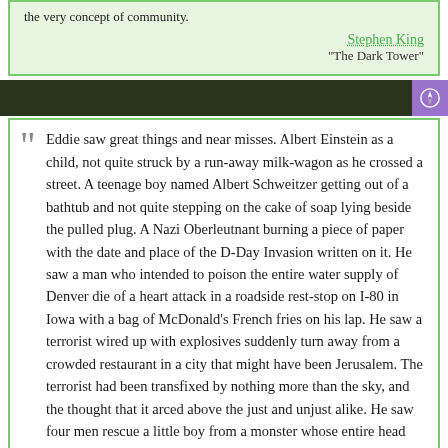the very concept of community.
Stephen King
"The Dark Tower"
Eddie saw great things and near misses. Albert Einstein as a child, not quite struck by a run-away milk-wagon as he crossed a street. A teenage boy named Albert Schweitzer getting out of a bathtub and not quite stepping on the cake of soap lying beside the pulled plug. A Nazi Oberleutnant burning a piece of paper with the date and place of the D-Day Invasion written on it. He saw a man who intended to poison the entire water supply of Denver die of a heart attack in a roadside rest-stop on I-80 in Iowa with a bag of McDonald's French fries on his lap. He saw a terrorist wired up with explosives suddenly turn away from a crowded restaurant in a city that might have been Jerusalem. The terrorist had been transfixed by nothing more than the sky, and the thought that it arced above the just and unjust alike. He saw four men rescue a little boy from a monster whose entire head seemed to consist of a single eye.